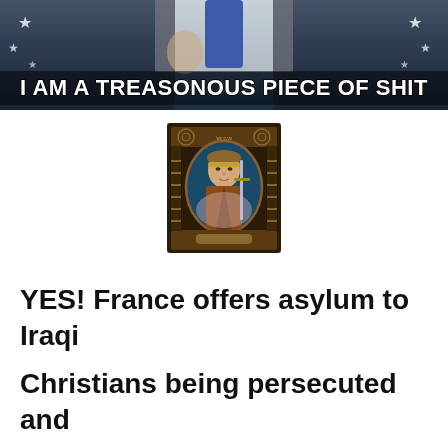[Figure (photo): Photo of a man in a dark suit and blue tie at a podium with American flags, overlaid with bold white text reading 'I AM A TREASONOUS PIECE OF SHIT']
[Figure (illustration): Stained glass illustration of a classical female figure holding a sword, framed in an ornate decorative border]
YES! France offers asylum to Iraqi Christians being persecuted and